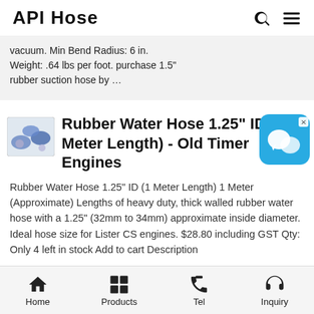API Hose
vacuum. Min Bend Radius: 6 in. Weight: .64 lbs per foot. purchase 1.5" rubber suction hose by …
Rubber Water Hose 1.25" ID (1 Meter Length) - Old Timer Engines
Rubber Water Hose 1.25" ID (1 Meter Length) 1 Meter (Approximate) Lengths of heavy duty, thick walled rubber water hose with a 1.25" (32mm to 34mm) approximate inside diameter. Ideal hose size for Lister CS engines. $28.80 including GST Qty: Only 4 left in stock Add to cart Description Specifications Reviews
Home  Products  Tel  Inquiry